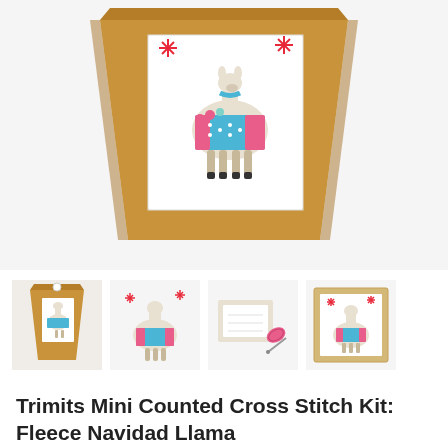[Figure (photo): Main product photo: a kraft brown paper bag/box with a white panel showing a decorative llama wearing a colourful festive blanket and scarf, with red star decorations. Product packaging for a cross stitch kit.]
[Figure (photo): Row of four thumbnail images: (1) kraft packaging bag, (2) cross stitch design of llama, (3) kit contents with threads and needle, (4) finished framed llama cross stitch in a light wood frame.]
Trimits Mini Counted Cross Stitch Kit: Fleece Navidad Llama
£3.00